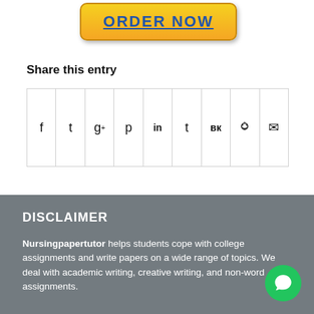[Figure (other): Yellow ORDER NOW button with blue bold underlined text]
Share this entry
[Figure (other): Social sharing icon row with icons for Facebook, Twitter, Google+, Pinterest, LinkedIn, Tumblr, VK, Reddit, Email]
DISCLAIMER
Nursingpapertutor helps students cope with college assignments and write papers on a wide range of topics. We deal with academic writing, creative writing, and non-word assignments.